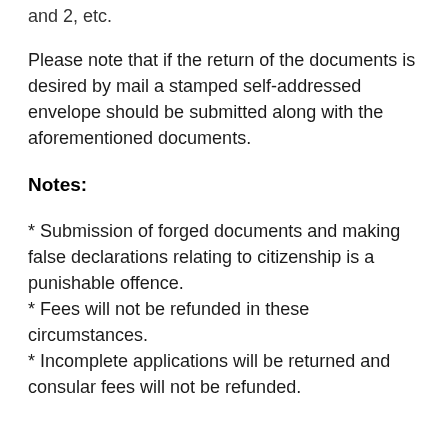and 2, etc.
Please note that if the return of the documents is desired by mail a stamped self-addressed envelope should be submitted along with the aforementioned documents.
Notes:
* Submission of forged documents and making false declarations relating to citizenship is a punishable offence.
* Fees will not be refunded in these circumstances.
* Incomplete applications will be returned and consular fees will not be refunded.